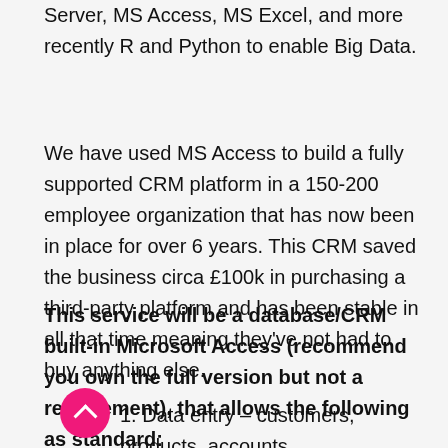Server, MS Access, MS Excel, and more recently R and Python to enable Big Data.
We have used MS Access to build a fully supported CRM platform in a 150-200 employee organization that has now been in place for over 6 years. This CRM saved the business circa £100k in purchasing a third-party platform and has been stable in all that time meaning they've not had to buy anything else.
This service will be a database/CRM built-in Microsoft Access (recommend you own the full version but not a requirement), that allows the following as standard:
1. Data entry – customers, products, accounts,